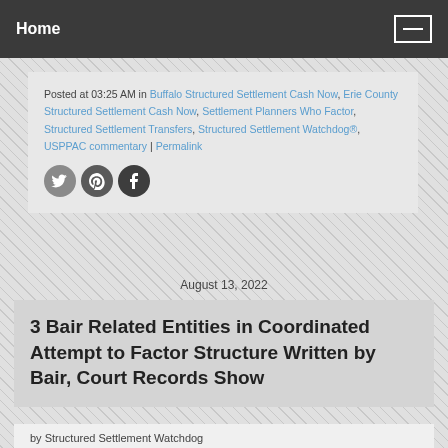Home
Posted at 03:25 AM in Buffalo Structured Settlement Cash Now, Erie County Structured Settlement Cash Now, Settlement Planners Who Factor, Structured Settlement Transfers, Structured Settlement Watchdog®, USPPAC commentary | Permalink
[Figure (other): Social sharing icons: Twitter, Pinterest, Facebook]
August 13, 2022
3 Bair Related Entities in Coordinated Attempt to Factor Structure Written by Bair, Court Records Show
by Structured Settlement Watchdog